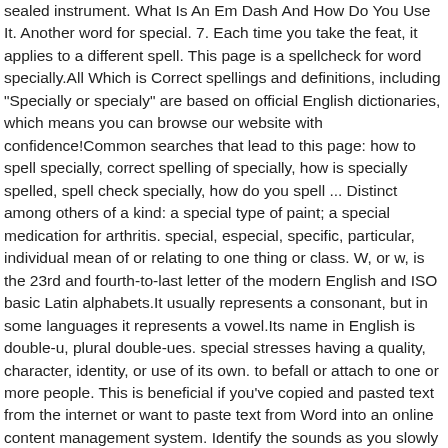sealed instrument. What Is An Em Dash And How Do You Use It. Another word for special. 7. Each time you take the feat, it applies to a different spell. This page is a spellcheck for word specially.All Which is Correct spellings and definitions, including "Specially or specialy" are based on official English dictionaries, which means you can browse our website with confidence!Common searches that lead to this page: how to spell specially, correct spelling of specially, how is specially spelled, spell check specially, how do you spell ... Distinct among others of a kind: a special type of paint; a special medication for arthritis. special, especial, specific, particular, individual mean of or relating to one thing or class. W, or w, is the 23rd and fourth-to-last letter of the modern English and ISO basic Latin alphabets.It usually represents a consonant, but in some languages it represents a vowel.Its name in English is double-u, plural double-ues. special stresses having a quality, character, identity, or use of its own. to befall or attach to one or more people. This is beneficial if you've copied and pasted text from the internet or want to paste text from Word into an online content management system. Identify the sounds as you slowly say a word you want to spell. a train used for a particular purpose, occasion, or the like. Publishers 1998, 2000, 2003, 2005, 2006, 2007, 2009, 2012. of a distinct or particular kind or character: being a particular one; particular, individual, or certain: pertaining or